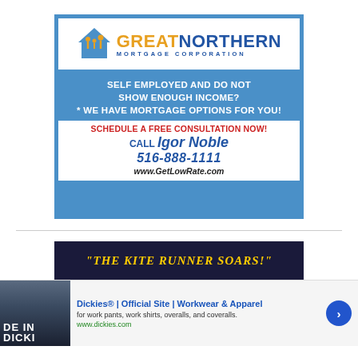[Figure (infographic): Great Northern Mortgage Corporation advertisement. Blue bordered ad with white logo area showing house/people icon and 'GREAT NORTHERN MORTGAGE CORPORATION' text. Blue section reads 'SELF EMPLOYED AND DO NOT SHOW ENOUGH INCOME? * WE HAVE MORTGAGE OPTIONS FOR YOU!' White CTA section: 'SCHEDULE A FREE CONSULTATION NOW!' in red, 'CALL Igor Noble' in blue, '516-888-1111' in blue italic, 'www.GetLowRate.com' in dark italic.]
[Figure (infographic): Partial banner showing yellow text on dark background: '"THE KITE RUNNER SOARS!"']
[Figure (infographic): Bottom advertisement bar for Dickies. Shows partial image on left with 'DE IN DICKI' text. Ad reads 'Dickies® | Official Site | Workwear & Apparel' with description 'for work pants, work shirts, overalls, and coveralls.' URL: www.dickies.com. Has close button and arrow button.]